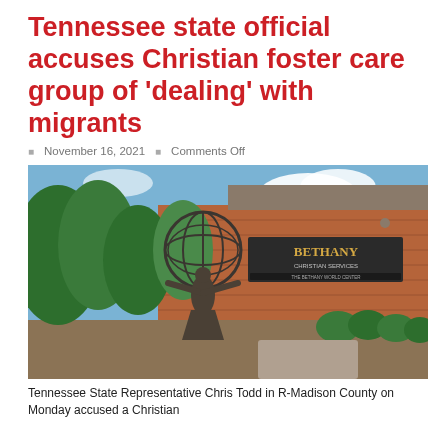Tennessee state official accuses Christian foster care group of ‘dealing’ with migrants
November 16, 2021   Comments Off
[Figure (photo): Bronze statue of a figure holding up a globe in front of a brick building with a 'Bethany Christian Services' sign, surrounded by green shrubs and trees under a partly cloudy sky.]
Tennessee State Representative Chris Todd in R-Madison County on Monday accused a Christian